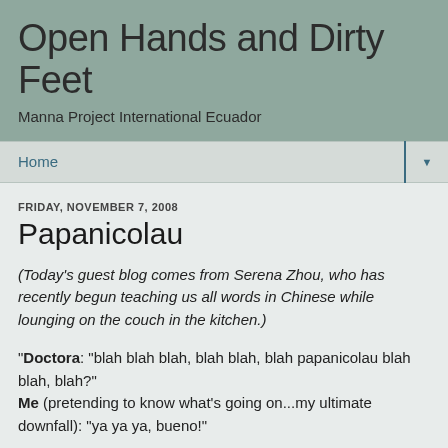Open Hands and Dirty Feet
Manna Project International Ecuador
Home
FRIDAY, NOVEMBER 7, 2008
Papanicolau
(Today's guest blog comes from Serena Zhou, who has recently begun teaching us all words in Chinese while lounging on the couch in the kitchen.)
"Doctora: "blah blah blah, blah blah, blah papanicolau blah blah, blah?"
Me (pretending to know what's going on...my ultimate downfall): "ya ya ya, bueno!"